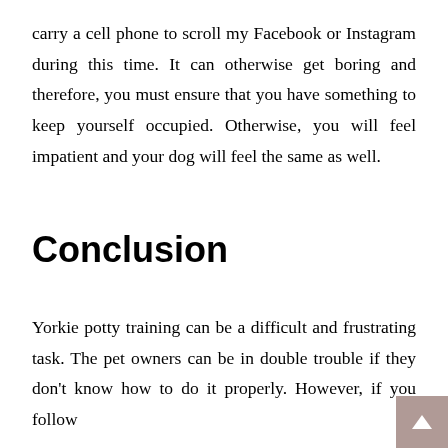carry a cell phone to scroll my Facebook or Instagram during this time. It can otherwise get boring and therefore, you must ensure that you have something to keep yourself occupied. Otherwise, you will feel impatient and your dog will feel the same as well.
Conclusion
Yorkie potty training can be a difficult and frustrating task. The pet owners can be in double trouble if they don't know how to do it properly. However, if you follow the tips in this post, this potty training would be...